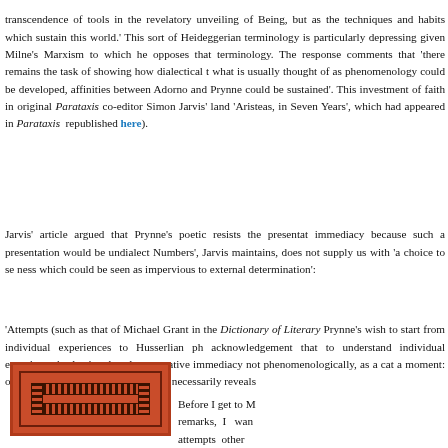transcendence of tools in the revelatory unveiling of Being, but as the techniques and habits which sustain this world.' This sort of Heideggerian terminology is particularly depressing given Milne's Marxism to which he opposes that terminology. The response comments that 'there remains the task of showing how dialectical thought and what is usually thought of as phenomenology could be developed, and affinities between Adorno and Prynne could be sustained'. This investment of faith in original Parataxis co-editor Simon Jarvis' landmark essay 'Aristeas, in Seven Years', which had appeared in Parataxis and was republished here).
Jarvis' article argued that Prynne's poetic resists the presentation of immediacy because such a presentation would be undialectical. 'High Numbers', Jarvis maintains, does not supply us with 'a choice to seek a singleness which could be seen as impervious to external determination':
'Attempts (such as that of Michael Grant in the Dictionary of Literary to assimilate Prynne's wish to start from individual experiences to Husserlian phenomenology miss the acknowledgement that to understand individual experience is also to mediate it. Prynne invokes demonstrative immediacy not phenomenologically, as a category of being immediate for a moment: once examined, apparent immediacy necessarily reveals itself as mediated.
[Figure (illustration): A book cover image with an orange-red background featuring decorative border patterns in dark brown/black along the top, bottom, and side edges, creating a framed interior space.]
Before I get to Milne's remarks, I want to note attempts other